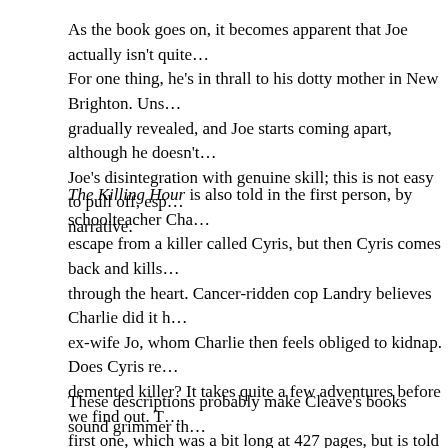As the book goes on, it becomes apparent that Joe actually isn't qui... For one thing, he's in thrall to his dotty mother in New Brighton. Uns... gradually revealed, and Joe starts coming apart, although he doesn'... Joe's disintegration with genuine skill; this is not easy to pull off, esp... narrative.
The Killing Hour is also told in the first person, by schoolteacher Cha... escape from a killer called Cyris, but then Cyris comes back and kills... through the heart. Cancer-ridden cop Landry believes Charlie did it h... ex-wife Jo, whom Charlie then feels obliged to kidnap. Does Cyris r... demented killer? It takes quite a few adventures before we find out. ... first one, which was a bit long at 427 pages, but is told in a similar ve...
These descriptions probably make Cleave's books sound grimmer th... with a sort of ironic detachment and a series of wry one-liners, so tha... trapped in the nastiness that is going on. See it more as entertainme...
Overkill, Vanda Symon's first novel, starts with a particularly chilling ... Knowes's house, threatens her daughter Angel with a knife, and tells... you. You are going to die. I want you to write a simple, fitting suicide... New write," Gaby, who of course loves her daughter, complies and...